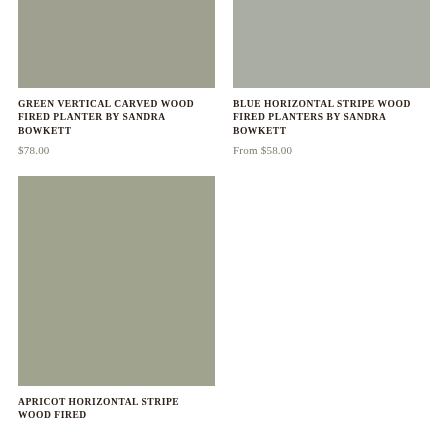[Figure (photo): Gray/olive painted wood fired planter product image placeholder]
GREEN VERTICAL CARVED WOOD FIRED PLANTER BY SANDRA BOWKETT
$78.00
[Figure (photo): Gray/sage painted wood fired planters product image placeholder]
BLUE HORIZONTAL STRIPE WOOD FIRED PLANTERS BY SANDRA BOWKETT
From $58.00
[Figure (photo): Gray/sage apricot horizontal stripe wood fired planter product image placeholder]
APRICOT HORIZONTAL STRIPE WOOD FIRED